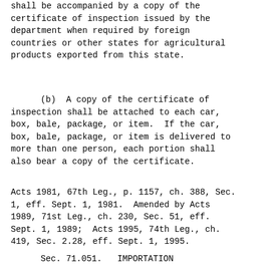shall be accompanied by a copy of the certificate of inspection issued by the department when required by foreign countries or other states for agricultural products exported from this state.
(b)  A copy of the certificate of inspection shall be attached to each car, box, bale, package, or item.  If the car, box, bale, package, or item is delivered to more than one person, each portion shall also bear a copy of the certificate.
Acts 1981, 67th Leg., p. 1157, ch. 388, Sec. 1, eff. Sept. 1, 1981.  Amended by Acts 1989, 71st Leg., ch. 230, Sec. 51, eff. Sept. 1, 1989;  Acts 1995, 74th Leg., ch. 419, Sec. 2.28, eff. Sept. 1, 1995.
Sec. 71.051.   IMPORTATION